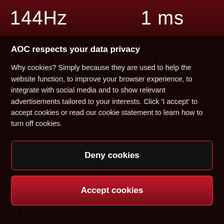144Hz    1 ms
AOC respects your data privacy
Why cookies? Simply because they are used to help the website function, to improve your browser experience, to integrate with social media and to show relevant advertisements tailored to your interests. Click 'I accept' to accept cookies or read our cookie statement to learn how to turn off cookies.
Deny cookies
Accept cookies